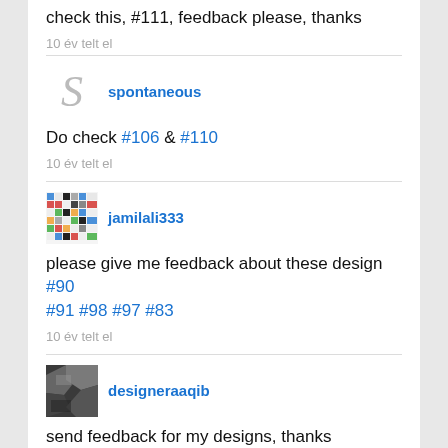check this, #111, feedback please, thanks
10 év telt el
spontaneous
Do check #106 & #110
10 év telt el
jamilali333
please give me feedback about these design #90 #91 #98 #97 #83
10 év telt el
designeraaqib
send feedback for my designs, thanks